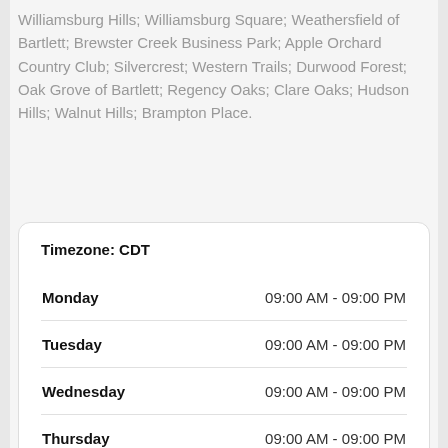Williamsburg Hills; Williamsburg Square; Weathersfield of Bartlett; Brewster Creek Business Park; Apple Orchard Country Club; Silvercrest; Western Trails; Durwood Forest; Oak Grove of Bartlett; Regency Oaks; Clare Oaks; Hudson Hills; Walnut Hills; Brampton Place.
| Day | Hours |
| --- | --- |
| Monday | 09:00 AM - 09:00 PM |
| Tuesday | 09:00 AM - 09:00 PM |
| Wednesday | 09:00 AM - 09:00 PM |
| Thursday | 09:00 AM - 09:00 PM |
| Friday | 09:00 AM - 09:00 PM |